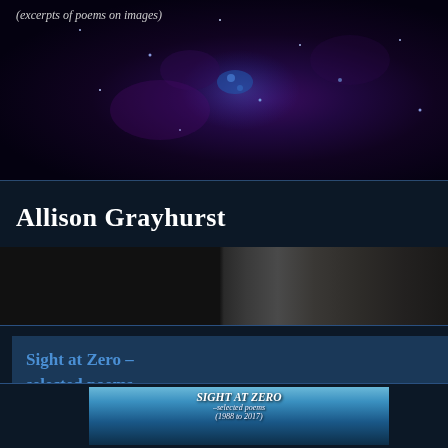[Figure (photo): Dark purple/space nebula background image at top of left panel]
(excerpts of poems on images)
Allison Grayhurst
Sight at Zero – selected poems (1988 to 2017), 2017
[Figure (photo): Book cover thumbnail at bottom showing 'SIGHT AT ZERO – selected poems (1988 to 2017)' with blue sky background]